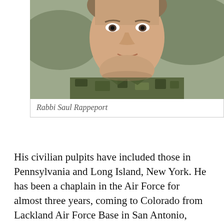[Figure (photo): Close-up photo of Rabbi Saul Rappeport wearing military camouflage uniform, cropped to show face and upper body.]
Rabbi Saul Rappeport
His civilian pulpits have included those in Pennsylvania and Long Island, New York. He has been a chaplain in the Air Force for almost three years, coming to Colorado from Lackland Air Force Base in San Antonio, Texas.
Asked why he decided to go into the Air Force, Rabbi Rappeport said he considered it a “calling within a calling.”
During his time as a civilian rabbi, he met with people from all over the world, each with a story to tell. He heard things from those with whom he